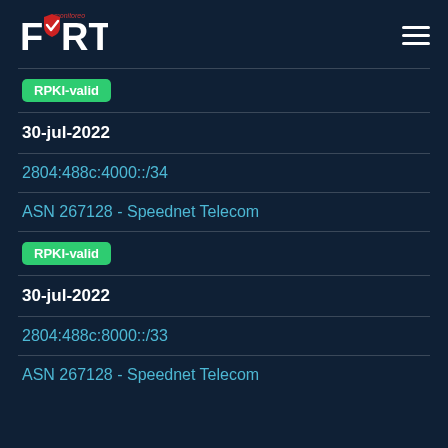[Figure (logo): FORT monitoreo logo with checkmark]
RPKI-valid
30-jul-2022
2804:488c:4000::/34
ASN 267128 - Speednet Telecom
RPKI-valid
30-jul-2022
2804:488c:8000::/33
ASN 267128 - Speednet Telecom